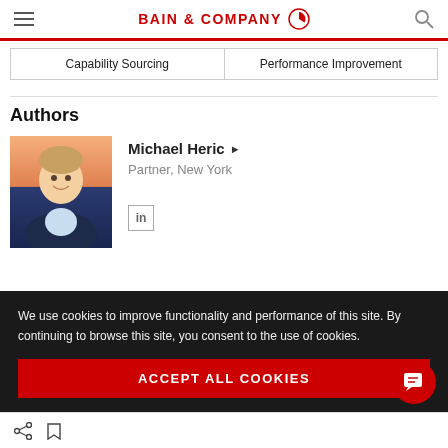BAIN & COMPANY
Capability Sourcing | Performance Improvement
Authors
[Figure (photo): Headshot photo of Michael Heric, a man in a dark blazer smiling, with an orange/red background]
Michael Heric ▶
Partner, New York
We use cookies to improve functionality and performance of this site. By continuing to browse this site, you consent to the use of cookies.
ACCEPT ALL COOKIES